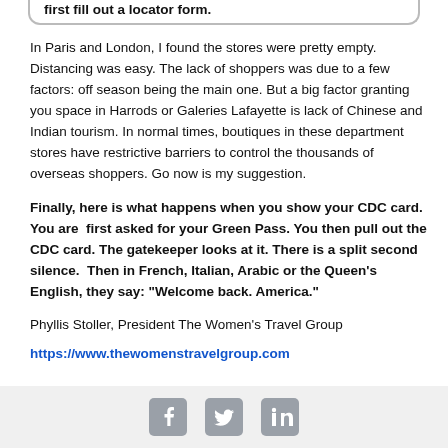first fill out a locator form.
In Paris and London, I found the stores were pretty empty. Distancing was easy. The lack of shoppers was due to a few factors: off season being the main one. But a big factor granting you space in Harrods or Galeries Lafayette is lack of Chinese and Indian tourism. In normal times, boutiques in these department stores have restrictive barriers to control the thousands of overseas shoppers. Go now is my suggestion.
Finally, here is what happens when you show your CDC card. You are first asked for your Green Pass. You then pull out the CDC card. The gatekeeper looks at it. There is a split second silence. Then in French, Italian, Arabic or the Queen’s English, they say: “Welcome back. America.”
Phyllis Stoller, President The Women’s Travel Group
https://www.thewomenstravelgroup.com
[Figure (other): Social media icons: Facebook, Twitter, LinkedIn in a light grey footer bar]